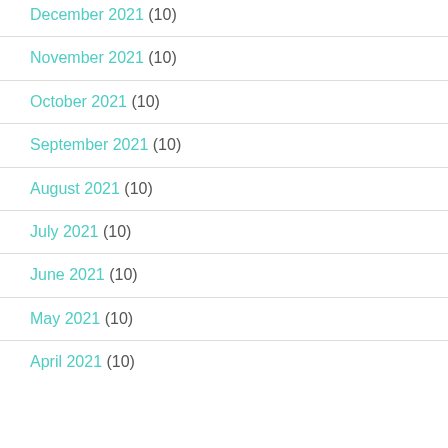December 2021 (10)
November 2021 (10)
October 2021 (10)
September 2021 (10)
August 2021 (10)
July 2021 (10)
June 2021 (10)
May 2021 (10)
April 2021 (10)